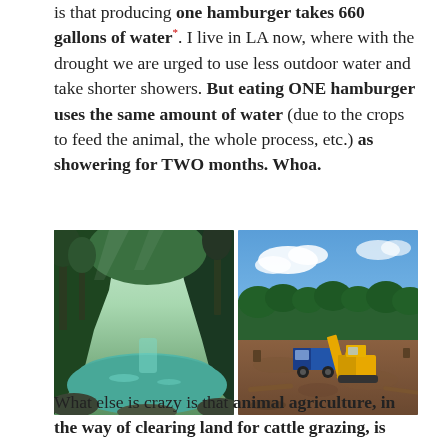is that producing one hamburger takes 660 gallons of water*. I live in LA now, where with the drought we are urged to use less outdoor water and take shorter showers. But eating ONE hamburger uses the same amount of water (due to the crops to feed the animal, the whole process, etc.) as showering for TWO months. Whoa.
[Figure (photo): Two side-by-side photos: left shows a lush green jungle river valley with turquoise water and tall trees on steep cliffs; right shows a deforested area with yellow excavating machinery and a blue truck on bare dirt with forest in the background.]
What else is crazy is that animal agriculture, in the way of clearing land for cattle grazing, is